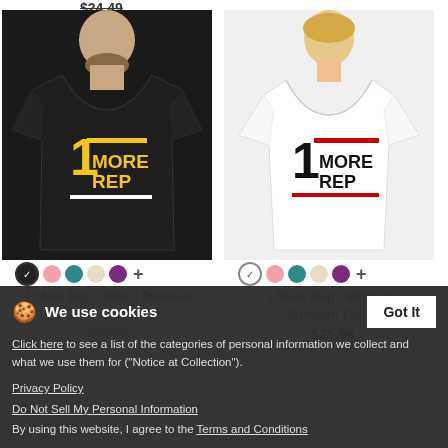$24.49
[Figure (photo): Man wearing black t-shirt with '1 More Rep' logo in yellow]
[Figure (photo): Woman wearing white t-shirt with '1 More Rep' logo in black and red]
1 More Rep - Men's Premium T-Shirt
1 More Rep - Women's Premium T-Shirt
$25.99
$25.99
We use cookies
Click here to see a list of the categories of personal information we collect and what we use them for ("Notice at Collection").
Privacy Policy
Do Not Sell My Personal Information
By using this website, I agree to the Terms and Conditions